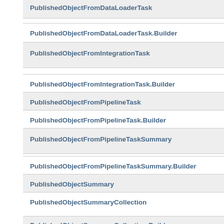PublishedObjectFromDataLoaderTask
PublishedObjectFromDataLoaderTask.Builder
PublishedObjectFromIntegrationTask
PublishedObjectFromIntegrationTask.Builder
PublishedObjectFromPipelineTask
PublishedObjectFromPipelineTask.Builder
PublishedObjectFromPipelineTaskSummary
PublishedObjectFromPipelineTaskSummary.Builder
PublishedObjectSummary
PublishedObjectSummaryCollection
PublishedObjectSummaryCollection.Builder